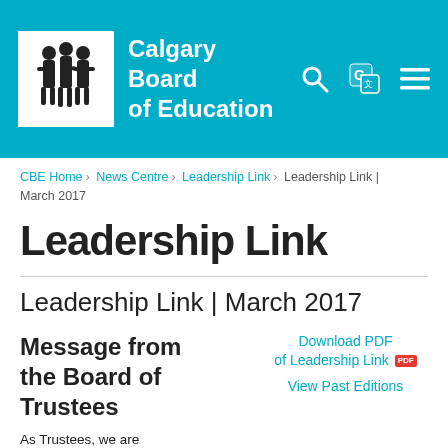[Figure (logo): Calgary Board of Education header with logo (three figures), organization name, search icon, translate icon, and menu icon on a teal background]
CBE Home > News Centre > Leadership Link > Leadership Link | March 2017
Leadership Link
Leadership Link | March 2017
Message from the Board of Trustees
Download PDF of Leadership Link
View Past Editions
As Trustees, we are passionate about public education, student success...